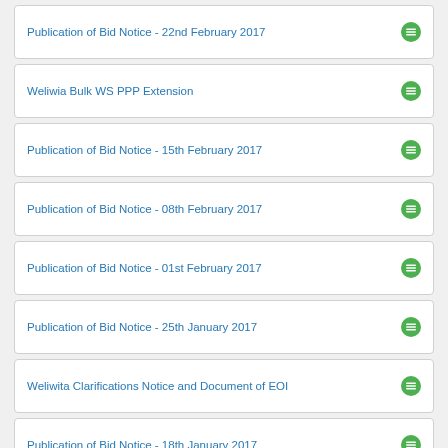Publication of Bid Notice - 22nd February 2017
Weliwia Bulk WS PPP Extension
Publication of Bid Notice - 15th February 2017
Publication of Bid Notice - 08th February 2017
Publication of Bid Notice - 01st February 2017
Publication of Bid Notice - 25th January 2017
Weliwita Clarifications Notice and Document of EOI
Publication of Bid Notice - 18th January 2017
Publication of Bid Notice - 11th January 2017
Weliwita Prebid Meeting Notice